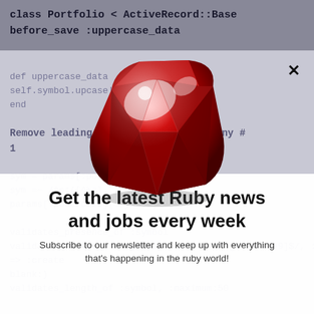[Figure (screenshot): Dark gray header bar containing Ruby code: 'class Portfolio < ActiveRecord::Base' and 'before_save :uppercase_data']
[Figure (screenshot): Background code text area showing Ruby code snippets including def uppercase_data, self.symbol.upcase!, end, Remove leading/trailing blanks if any #1, sym = params[:portfolio][:symbol], sym =~ /^s*([^\s].../, params[:portfolio][:symbol] = ..., validates_presence_of :symbol, validates_format_of :symbol, with => /^[a-zA-Z0-9]$/, on => :create, blank:), validates_length_of :symbol, maximum:50]
[Figure (illustration): Large 3D red ruby gemstone illustration centered on the page]
×
Get the latest Ruby news and jobs every week
Subscribe to our newsletter and keep up with everything that's happening in the ruby world!